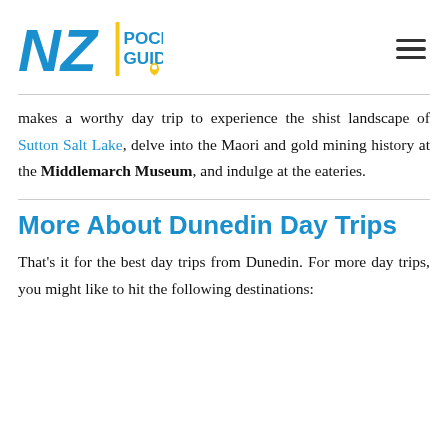NZ Pocket Guide
makes a worthy day trip to experience the shist landscape of Sutton Salt Lake, delve into the Maori and gold mining history at the Middlemarch Museum, and indulge at the eateries.
More About Dunedin Day Trips
That’s it for the best day trips from Dunedin. For more day trips, you might like to hit the following destinations: